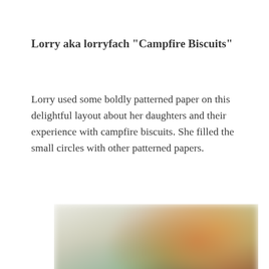Lorry aka lorryfach "Campfire Biscuits"
Lorry used some boldly patterned paper on this delightful layout about her daughters and their experience with campfire biscuits. She filled the small circles with other patterned papers.
[Figure (photo): Blurred scrapbook layout photograph showing a colorful patterned paper background with circular embellishments and a figure, featuring warm orange, yellow, green tones and dark accents.]